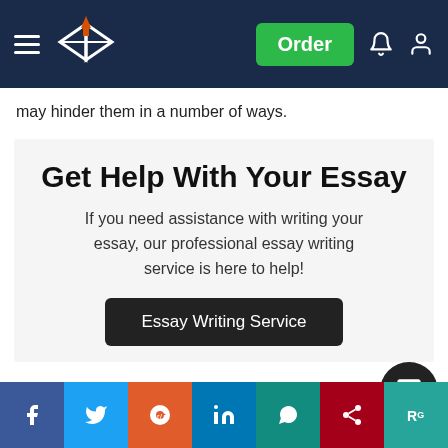Navigation bar with hamburger menu, logo, Order button, notification and account icons
may hinder them in a number of ways.
Get Help With Your Essay
If you need assistance with writing your essay, our professional essay writing service is here to help!
Essay Writing Service
Context:
I have been a teacher in a school where 70% ... Ethnic